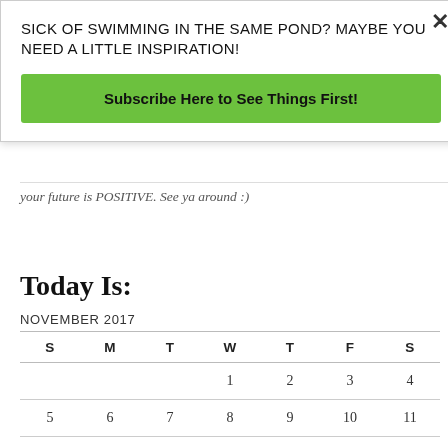SICK OF SWIMMING IN THE SAME POND? MAYBE YOU NEED A LITTLE INSPIRATION!
Subscribe Here to See Things First!
your future is POSITIVE. See ya around :)
Today Is:
| S | M | T | W | T | F | S |
| --- | --- | --- | --- | --- | --- | --- |
|  |  |  | 1 | 2 | 3 | 4 |
| 5 | 6 | 7 | 8 | 9 | 10 | 11 |
| 12 | 13 | 14 | 15 | 16 | 17 | 18 |